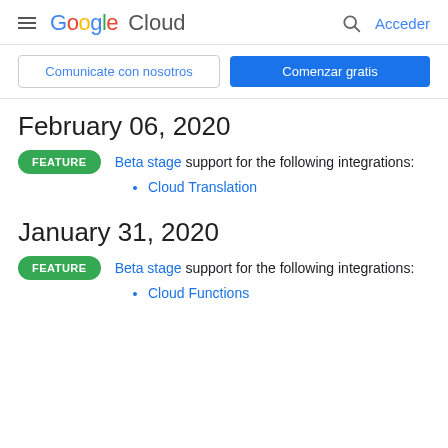Google Cloud — Acceder
Comunicate con nosotros | Comenzar gratis
February 06, 2020
FEATURE — Beta stage support for the following integrations:
Cloud Translation
January 31, 2020
FEATURE — Beta stage support for the following integrations:
Cloud Functions